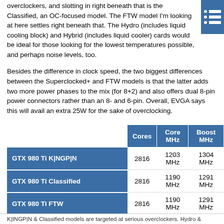overclockers, and slotting in right beneath that is the Classified, an OC-focused model. The FTW model I'm looking at here settles right beneath that. The Hydro (includes liquid cooling block) and Hybrid (includes liquid cooler) cards would be ideal for those looking for the lowest temperatures possible, and perhaps noise levels, too.
Besides the difference in clock speed, the two biggest differences between the Superclocked+ and FTW models is that the latter adds two more power phases to the mix (for 8+2) and also offers dual 8-pin power connectors rather than an 8- and 6-pin. Overall, EVGA says this will avail an extra 25W for the sake of overclocking.
|  | Cores | Core MHz | Boost MHz |
| --- | --- | --- | --- |
| GTX 980 Ti K|NGP|N | 2816 | 1203 MHz | 1304 MHz |
| GTX 980 Ti Classified | 2816 | 1190 MHz | 1291 MHz |
| GTX 980 Ti FTW | 2816 | 1190 MHz | 1291 MHz |
| GTX 980 Ti Hydro/Hybrid | 2816 | 1140 MHz | 1228 MHz |
| GTX 980 Ti SC/SC+ | 2816 | 1102 MHz | 1190 MHz |
| GTX 980 Ti Gaming | 2816 | 1000 MHz | 1076 MHz |
K|INGP|N & Classified models are targeted at serious overclockers. Hydro &